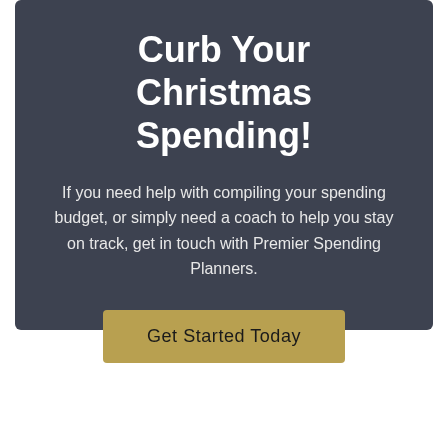Curb Your Christmas Spending!
If you need help with compiling your spending budget, or simply need a coach to help you stay on track, get in touch with Premier Spending Planners.
Get Started Today